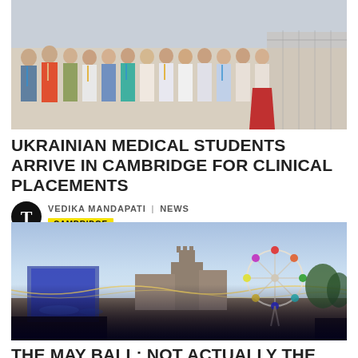[Figure (photo): Group photo of Ukrainian medical students standing outside, wearing lanyards/name badges, colorful clothing, in front of a building with a metal fence.]
UKRAINIAN MEDICAL STUDENTS ARRIVE IN CAMBRIDGE FOR CLINICAL PLACEMENTS
VEDIKA MANDAPATI | NEWS
CAMBRIDGE
[Figure (photo): Outdoor evening photo of Cambridge city with a Gothic-style building, fairground ferris wheel with colorful lights, string lights, and a clear blue sky.]
THE MAY BALL: NOT ACTUALLY THE SEVENTH